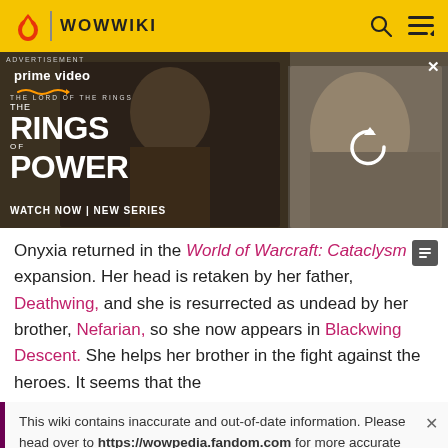WOWWIKI
[Figure (screenshot): Amazon Prime Video advertisement for The Lord of the Rings: The Rings of Power. Shows a dark hooded figure and a scene with a blonde woman. Text reads: prime video, THE LORD OF THE RINGS THE RINGS OF POWER, WATCH NOW | NEW SERIES. Partially loaded with a refresh icon overlay.]
Onyxia returned in the World of Warcraft: Cataclysm expansion. Her head is retaken by her father, Deathwing, and she is resurrected as undead by her brother, Nefarian, so she now appears in Blackwing Descent. She helps her brother in the fight against the heroes. It seems that the
This wiki contains inaccurate and out-of-date information. Please head over to https://wowpedia.fandom.com for more accurate and up-to-date game information.